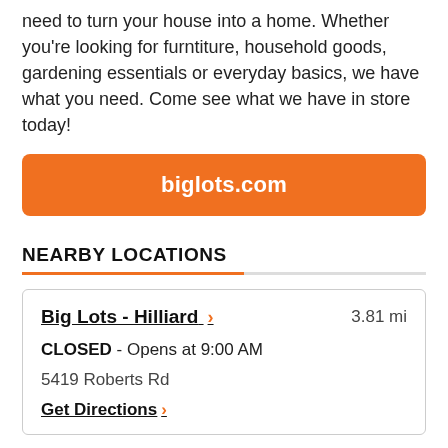need to turn your house into a home. Whether you're looking for furntiture, household goods, gardening essentials or everyday basics, we have what you need. Come see what we have in store today!
biglots.com
NEARBY LOCATIONS
Big Lots - Hilliard   3.81 mi
CLOSED - Opens at 9:00 AM
5419 Roberts Rd
Get Directions